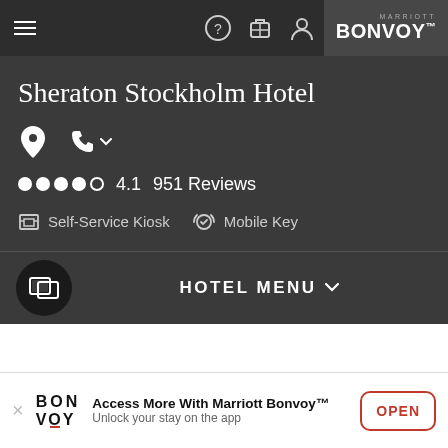Marriott Bonvoy — navigation bar with hamburger menu, help, luggage, profile icons
Sheraton Stockholm Hotel
Location icon, Phone icon with dropdown
4.1  951 Reviews
Self-Service Kiosk   Mobile Key
HOTEL MENU
Access More With Marriott Bonvoy™  Unlock your stay on the app
OPEN